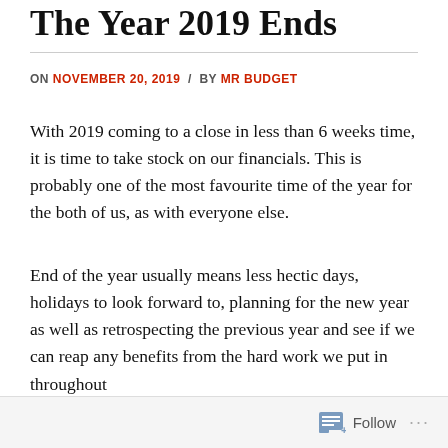The Year 2019 Ends
ON NOVEMBER 20, 2019 / BY MR BUDGET
With 2019 coming to a close in less than 6 weeks time, it is time to take stock on our financials. This is probably one of the most favourite time of the year for the both of us, as with everyone else.
End of the year usually means less hectic days, holidays to look forward to, planning for the new year as well as retrospecting the previous year and see if we can reap any benefits from the hard work we put in throughout
Follow